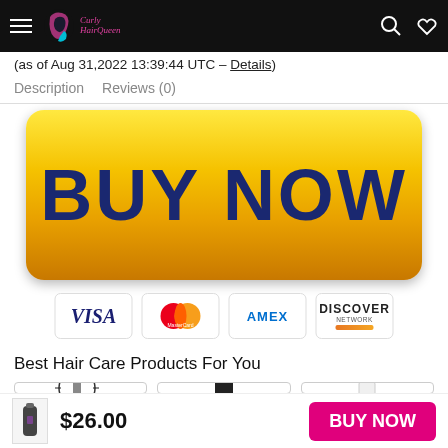CurlyHairQueen
(as of Aug 31,2022 13:39:44 UTC – Details)
Description   Reviews (0)
[Figure (other): Large yellow gradient BUY NOW button with dark blue bold text]
[Figure (other): Payment method logos: VISA, MasterCard, AMEX, DISCOVER NETWORK]
Best Hair Care Products For You
[Figure (other): Three product card images: hair brush, spray bottle, BioSilk bottle]
$26.00
BUY NOW